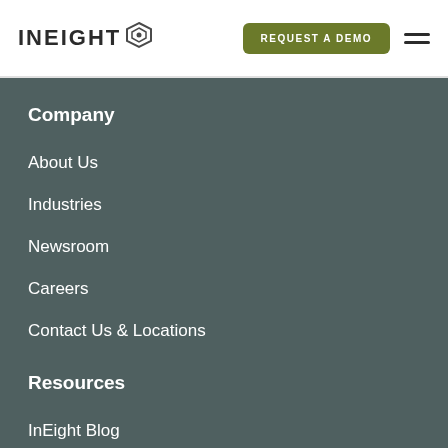INEIGHT [logo] REQUEST A DEMO [menu]
Company
About Us
Industries
Newsroom
Careers
Contact Us & Locations
Resources
InEight Blog
Webinars
Customer Stories